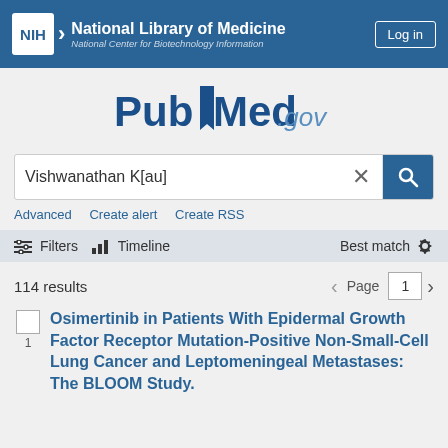NIH National Library of Medicine National Center for Biotechnology Information | Log in
[Figure (logo): PubMed.gov logo with bookmark icon]
Vishwanathan K[au]
Advanced   Create alert   Create RSS
Filters   Timeline   Best match
114 results   Page 1
Osimertinib in Patients With Epidermal Growth Factor Receptor Mutation-Positive Non-Small-Cell Lung Cancer and Leptomeningeal Metastases: The BLOOM Study.